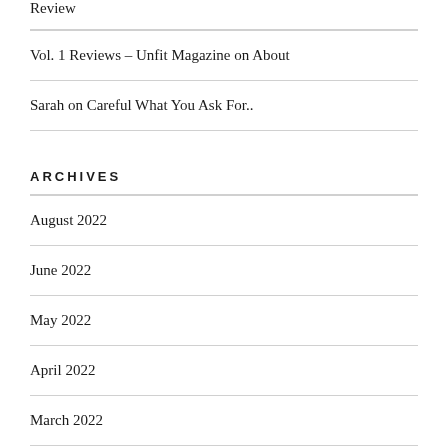Review
Vol. 1 Reviews – Unfit Magazine on About
Sarah on Careful What You Ask For..
ARCHIVES
August 2022
June 2022
May 2022
April 2022
March 2022
February 2022